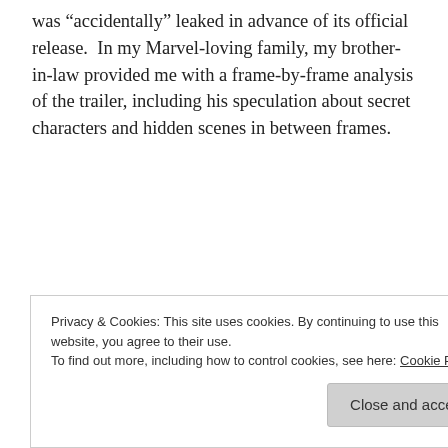was “accidentally” leaked in advance of its official release. In my Marvel-loving family, my brother-in-law provided me with a frame-by-frame analysis of the trailer, including his speculation about secret characters and hidden scenes in between frames.
Read more from Elba here.
November 3, 2014   Leave a Reply
Privacy & Cookies: This site uses cookies. By continuing to use this website, you agree to their use.
To find out more, including how to control cookies, see here: Cookie Policy